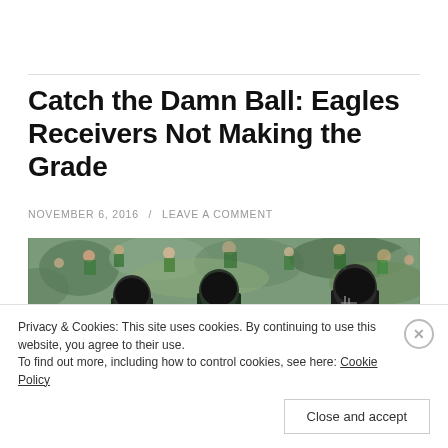Catch the Damn Ball: Eagles Receivers Not Making the Grade
NOVEMBER 6, 2016 / LEAVE A COMMENT
[Figure (photo): Philadelphia Eagles players including Matthews and Sproles on the field, surrounded by a crowd of fans in green.]
Privacy & Cookies: This site uses cookies. By continuing to use this website, you agree to their use.
To find out more, including how to control cookies, see here: Cookie Policy
Close and accept